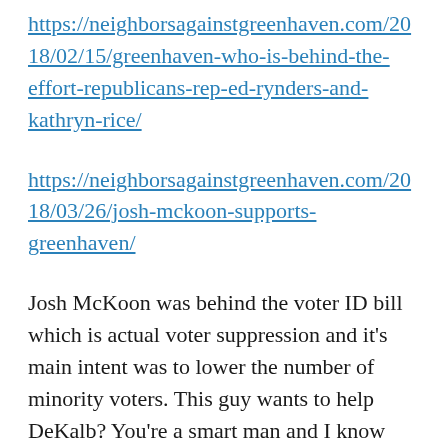https://neighborsagainstgreenhaven.com/2018/02/15/greenhaven-who-is-behind-the-effort-republicans-rep-ed-rynders-and-kathryn-rice/
https://neighborsagainstgreenhaven.com/2018/03/26/josh-mckoon-supports-greenhaven/
Josh McKoon was behind the voter ID bill which is actual voter suppression and it's main intent was to lower the number of minority voters. This guy wants to help DeKalb? You're a smart man and I know you